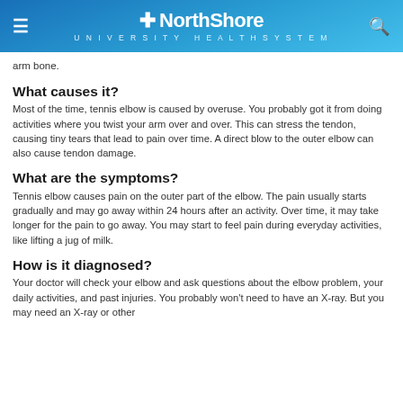NorthShore University HealthSystem
arm bone.
What causes it?
Most of the time, tennis elbow is caused by overuse. You probably got it from doing activities where you twist your arm over and over. This can stress the tendon, causing tiny tears that lead to pain over time. A direct blow to the outer elbow can also cause tendon damage.
What are the symptoms?
Tennis elbow causes pain on the outer part of the elbow. The pain usually starts gradually and may go away within 24 hours after an activity. Over time, it may take longer for the pain to go away. You may start to feel pain during everyday activities, like lifting a jug of milk.
How is it diagnosed?
Your doctor will check your elbow and ask questions about the elbow problem, your daily activities, and past injuries. You probably won't need to have an X-ray. But you may need an X-ray or other